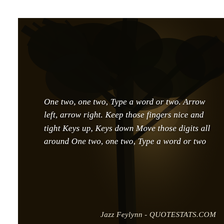[Figure (photo): Dark atmospheric photo of a tree silhouette against a dusky sky with warm brown tones, overlaid with a handwritten-style italic quote and attribution text.]
One two, one two, Type a word or two. Arrow left, arrow right. Keep those fingers nice and tight Keys up, Keys down Move those digits all around One two, one two, Type a word or two
Jazz Feylynn - QUOTESTATS.COM